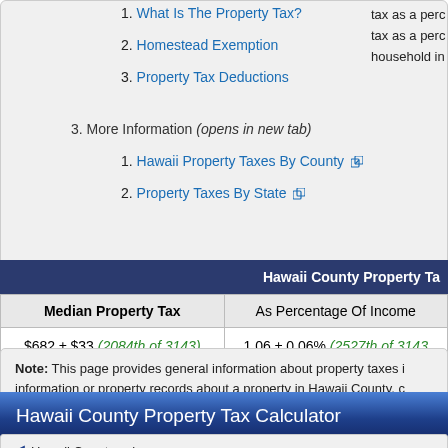1. What Is The Property Tax?
2. Homestead Exemption
3. Property Tax Deductions
3. More Information (opens in new tab)
1. Hawaii Property Taxes By County
2. Property Taxes By State
| Median Property Tax | As Percentage Of Income |
| --- | --- |
| $682 ± $33 (2084th of 3143) | 1.06 ± 0.06% (2527th of 3143) |
Note: This page provides general information about property taxes in information or property records about a property in Hawaii County, c Office.
Hawaii County Property Tax Calculator
Hawaii County calc...